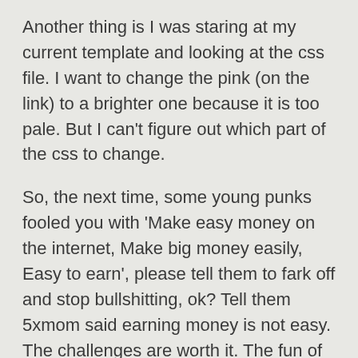Another thing is I was staring at my current template and looking at the css file. I want to change the pink (on the link) to a brighter one because it is too pale. But I can't figure out which part of the css to change.
So, the next time, some young punks fooled you with 'Make easy money on the internet, Make big money easily, Easy to earn', please tell them to fark off and stop bullshitting, ok? Tell them 5xmom said earning money is not easy. The challenges are worth it. The fun of learning and discovering something new is exhilirating. The fact that your blog has more cool stuffs than others is rewarding enough. All these are the reasons I kept improving on what I know. Not the dollar and cents.
I have 20 more pieces of paid posts to write. It is getting mind pumbing but the thought of sitting here